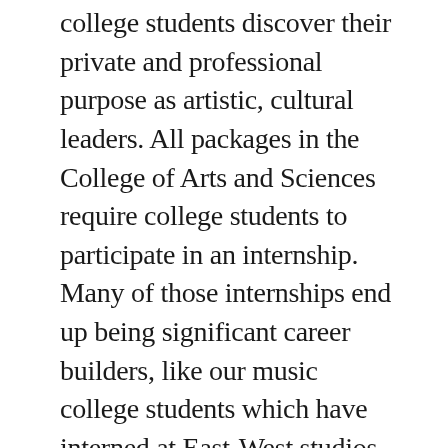college students discover their private and professional purpose as artistic, cultural leaders. All packages in the College of Arts and Sciences require college students to participate in an internship. Many of those internships end up being significant career builders, like our music college students which have interned at East-West studios in L.A. And our science students which have interned on the Fred Hutchinson Cancer Research Center. The College of Arts and Sciences at Northwest University is essentially the most programmatically diverse of all our colleges.